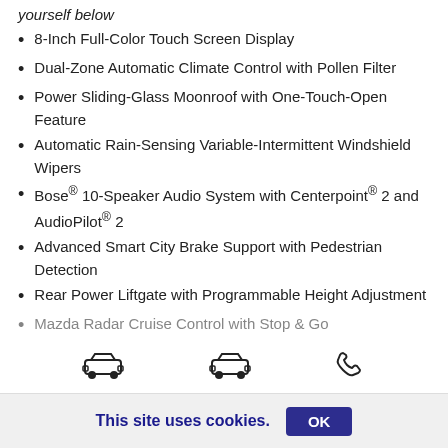yourself below
8-Inch Full-Color Touch Screen Display
Dual-Zone Automatic Climate Control with Pollen Filter
Power Sliding-Glass Moonroof with One-Touch-Open Feature
Automatic Rain-Sensing Variable-Intermittent Windshield Wipers
Bose® 10-Speaker Audio System with Centerpoint® 2 and AudioPilot® 2
Advanced Smart City Brake Support with Pedestrian Detection
Rear Power Liftgate with Programmable Height Adjustment
Mazda Radar Cruise Control with Stop & Go
[Figure (infographic): Navigation icons: two car icons and a phone icon]
This site uses cookies.  OK